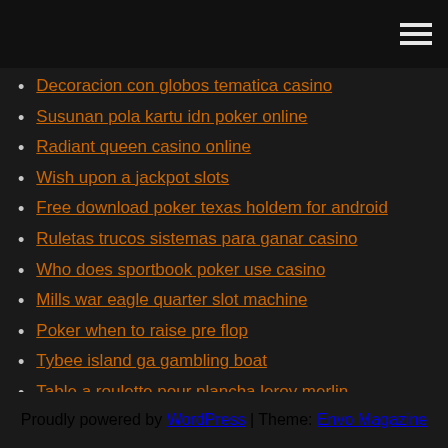Decoracion con globos tematica casino
Susunan pola kartu idn poker online
Radiant queen casino online
Wish upon a jackpot slots
Free download poker texas holdem for android
Ruletas trucos sistemas para ganar casino
Who does sportbook poker use casino
Mills war eagle quarter slot machine
Poker when to raise pre flop
Tybee island ga gambling boat
Table a roulette pour plancha leroy merlin
Proudly powered by WordPress | Theme: Envo Magazine